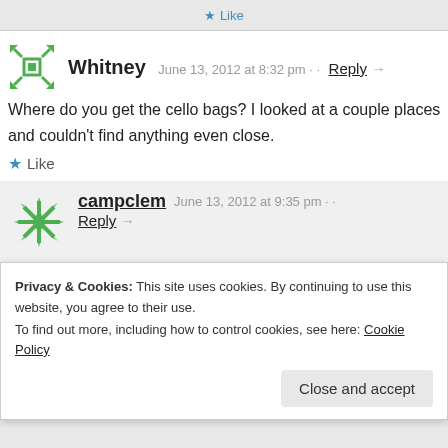Like
Whitney   June 13, 2012 at 8:32 pm · · Reply →
Where do you get the cello bags? I looked at a couple places and couldn't find anything even close.
Like
campclem   June 13, 2012 at 9:35 pm · · Reply →
Walmart (in the fake floral section, for some
Privacy & Cookies: This site uses cookies. By continuing to use this website, you agree to their use.
To find out more, including how to control cookies, see here: Cookie Policy
Close and accept